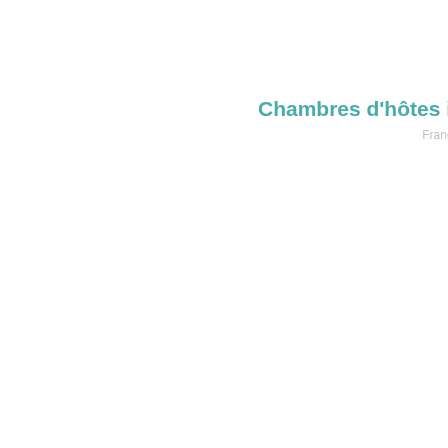Chambres d'hôtes in the P
Français  English